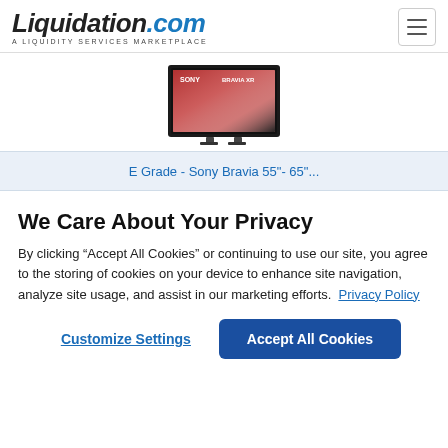Liquidation.com — A LIQUIDITY SERVICES MARKETPLACE
[Figure (photo): Sony Bravia XR television displayed on a product listing page]
E Grade - Sony Bravia 55"- 65"...
We Care About Your Privacy
By clicking “Accept All Cookies” or continuing to use our site, you agree to the storing of cookies on your device to enhance site navigation, analyze site usage, and assist in our marketing efforts.  Privacy Policy
Customize Settings    Accept All Cookies